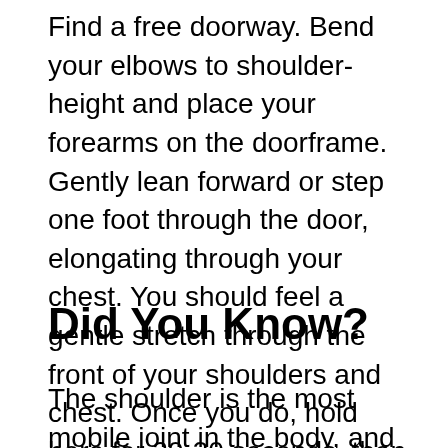Find a free doorway. Bend your elbows to shoulder-height and place your forearms on the doorframe. Gently lean forward or step one foot through the door, elongating through your chest. You should feel a gentle stretch through the front of your shoulders and chest. Once you do, hold here for 20-30 seconds, then release. This stretch can be repeated 2-3 times a day.
Did You Know?
The shoulder is the most mobile joint in the body, and because its articulation...